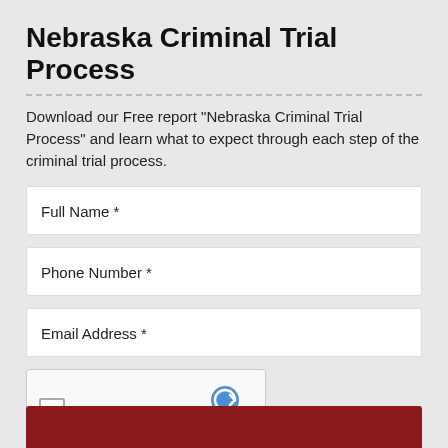Nebraska Criminal Trial Process
Download our Free report “Nebraska Criminal Trial Process” and learn what to expect through each step of the criminal trial process.
Full Name *
Phone Number *
Email Address *
[Figure (other): reCAPTCHA widget with checkbox labeled 'I'm not a robot', reCAPTCHA logo, and Privacy/Terms links]
Submit button (dark red/maroon color) at bottom